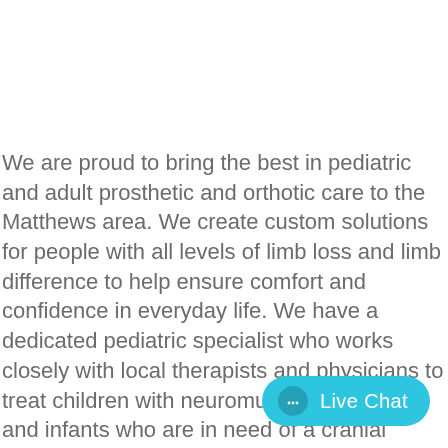We are proud to bring the best in pediatric and adult prosthetic and orthotic care to the Matthews area. We create custom solutions for people with all levels of limb loss and limb difference to help ensure comfort and confidence in everyday life. We have a dedicated pediatric specialist who works closely with local therapists and physicians to treat children with neuromuscular disorders and infants who are in need of a cranial helmet. We are conveniently located behind and down the street from Novant Hospital. Call our office to schedule a free evaluation. We look forward to seeing you!